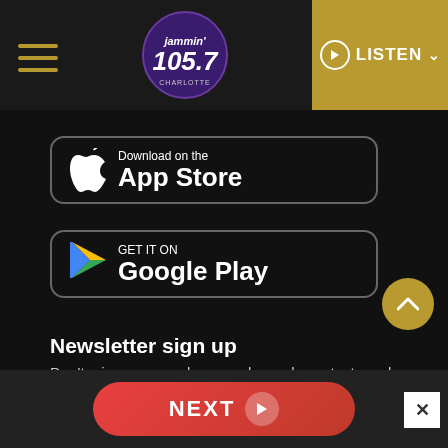Jammin' 105.7 | LISTEN
[Figure (screenshot): App Store download button — Download on the App Store with Apple logo]
[Figure (screenshot): Google Play download button — GET IT ON Google Play with Play Store triangle logo]
Newsletter sign up
Don't miss on pre-sales, member-only contests and member only events.
[Figure (screenshot): NEXT button with right arrow chevron at the bottom of the page]